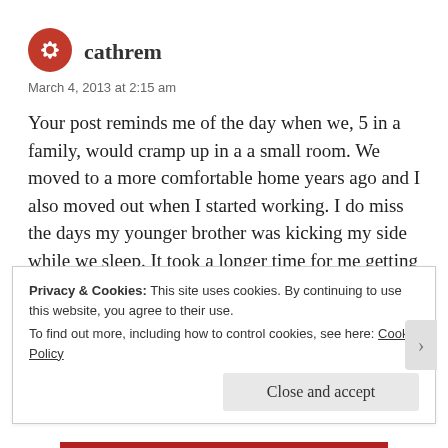cathrem
March 4, 2013 at 2:15 am
Your post reminds me of the day when we, 5 in a family, would cramp up in a a small room. We moved to a more comfortable home years ago and I also moved out when I started working. I do miss the days my younger brother was kicking my side while we sleep. It took a longer time for me getting used to sleep alone in a room even if I'm already a grownup. 😉
Privacy & Cookies: This site uses cookies. By continuing to use this website, you agree to their use.
To find out more, including how to control cookies, see here: Cookie Policy
Close and accept